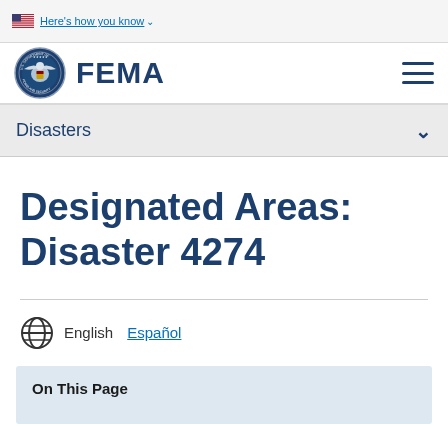Here's how you know
[Figure (logo): FEMA logo with DHS seal and FEMA wordmark]
Disasters
Designated Areas: Disaster 4274
English  Español
On This Page